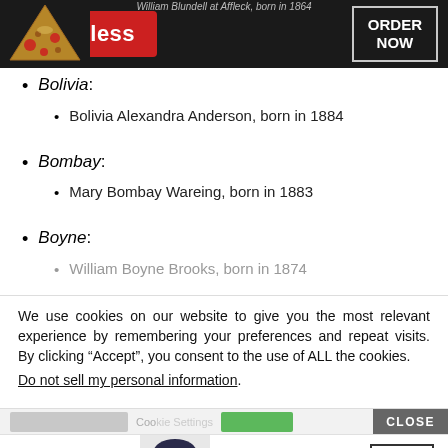[Figure (screenshot): Seamless food delivery advertisement banner with pizza image, red seamless button, and ORDER NOW button on dark background]
Bolivia:
Bolivia Alexandra Anderson, born in 1884
Bombay:
Mary Bombay Wareing, born in 1883
Boyne:
William Boyne Brooks, born in 1874
We use cookies on our website to give you the most relevant experience by remembering your preferences and repeat visits. By clicking “Accept”, you consent to the use of ALL the cookies.
Do not sell my personal information.
[Figure (screenshot): Bloomingdale's advertisement banner with woman in hat, View Today's Top Deals text, and SHOP NOW button]